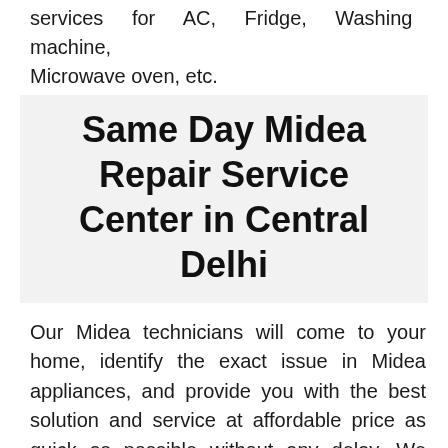services for AC, Fridge, Washing machine, Microwave oven, etc.
Same Day Midea Repair Service Center in Central Delhi
Our Midea technicians will come to your home, identify the exact issue in Midea appliances, and provide you with the best solution and service at affordable price as quick as possible without any delay. We have well qualified, experienced and well trained Midea mechanics/technicians for repairing all types of Midea Appliances with different models. You no need to worry about anything when we are working and you will get your Midea appliance in